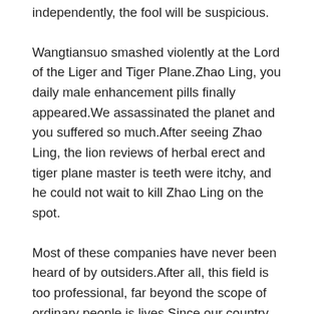independently, the fool will be suspicious.
Wangtiansuo smashed violently at the Lord of the Liger and Tiger Plane.Zhao Ling, you daily male enhancement pills finally appeared.We assassinated the planet and you suffered so much.After seeing Zhao Ling, the lion reviews of herbal erect and tiger plane master is teeth were itchy, and he could not wait to kill Zhao Ling on the spot.
Most of these companies have never been heard of by outsiders.After all, this field is too professional, far beyond the scope of ordinary people is lives.Since our country has made such a crazy advance in the field of semiconductor design, it is conceivable that Huawei HiSilicon, the first to win the top 50 in the world, has developed to what extent.
After all, the distance is so far away, and there is no intersection.Luo Jia nodded, In the eyes of Europe and the United States, we are just like Africa in our eyes, with different